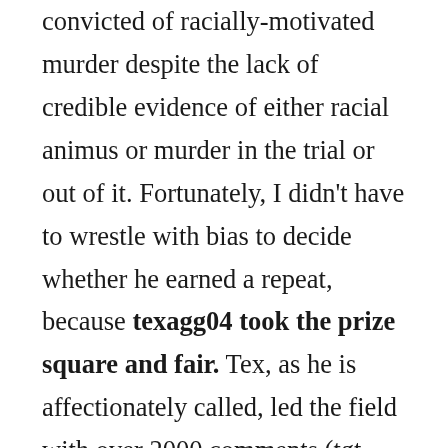convicted of racially-motivated murder despite the lack of credible evidence of either racial animus or murder in the trial or out of it. Fortunately, I didn't have to wrestle with bias to decide whether he earned a repeat, because texagg04 took the prize square and fair. Tex, as he is affectionately called, led the field with over 2000 comments (tgt, who was enshrined in the Ethics Alarms Commenter Hall of Fame in 2012 and was thus ineligible for the award, came in